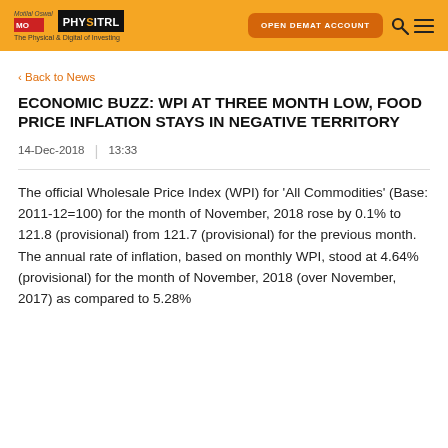Motilal Oswal PHYSITRL - The Physical & Digital of Investing | OPEN DEMAT ACCOUNT
< Back to News
ECONOMIC BUZZ: WPI AT THREE MONTH LOW, FOOD PRICE INFLATION STAYS IN NEGATIVE TERRITORY
14-Dec-2018  |  13:33
The official Wholesale Price Index (WPI) for 'All Commodities' (Base: 2011-12=100) for the month of November, 2018 rose by 0.1% to 121.8 (provisional) from 121.7 (provisional) for the previous month. The annual rate of inflation, based on monthly WPI, stood at 4.64% (provisional) for the month of November, 2018 (over November, 2017) as compared to 5.28%